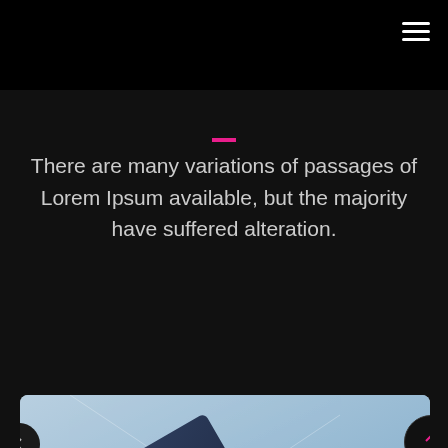There are many variations of passages of Lorem Ipsum available, but the majority have suffered alteration.
[Figure (photo): A hand holding a blue credit card with network connection lines overlay in the background, suggesting digital finance or payment technology.]